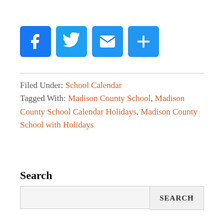[Figure (infographic): Four social sharing icon buttons: Facebook (blue f), Twitter (blue bird), Email (blue envelope), Share/Plus (blue plus sign)]
Filed Under: School Calendar
Tagged With: Madison County School, Madison County School Calendar Holidays, Madison County School with Holidays
Search